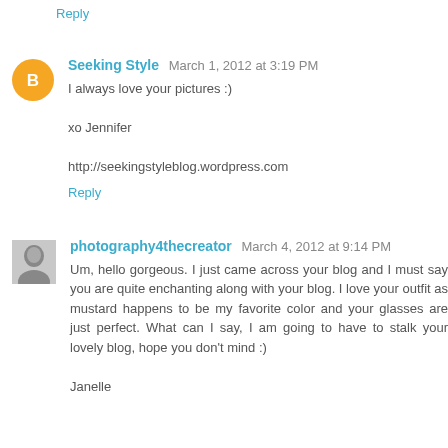Reply
Seeking Style  March 1, 2012 at 3:19 PM
I always love your pictures :)

xo Jennifer

http://seekingstyleblog.wordpress.com
Reply
photography4thecreator  March 4, 2012 at 9:14 PM
Um, hello gorgeous. I just came across your blog and I must say you are quite enchanting along with your blog. I love your outfit as mustard happens to be my favorite color and your glasses are just perfect. What can I say, I am going to have to stalk your lovely blog, hope you don't mind :)

Janelle